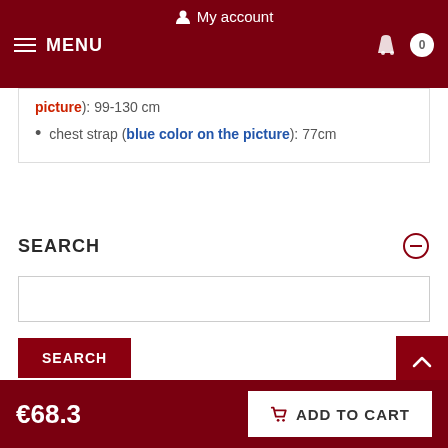My account
picture): 99-130 cm
chest strap (blue color on the picture): 77cm
SEARCH
€68.3
ADD TO CART